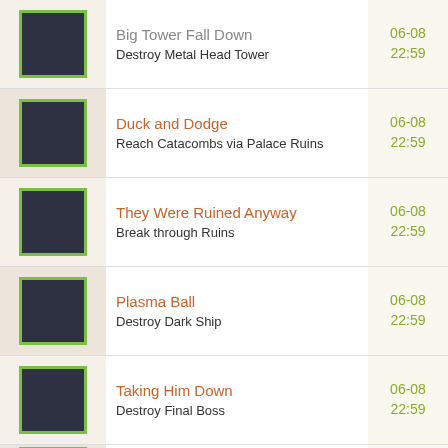Big Tower Fall Down
Destroy Metal Head Tower
06-08 22:59
Duck and Dodge
Reach Catacombs via Palace Ruins
06-08 22:59
They Were Ruined Anyway
Break through Ruins
06-08 22:59
Plasma Ball
Destroy Dark Ship
06-08 22:59
Taking Him Down
Destroy Final Boss
06-08 22:59
Ch Mo... (partially visible)